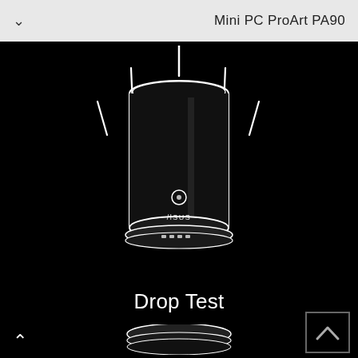Mini PC ProArt PA90
[Figure (illustration): Line-art illustration of ASUS Mini PC ProArt PA90 cylindrical device on black background, with white outline showing the device dropping with motion lines (vertical lines above and to sides indicating drop test). Device shows power button, ASUS logo, and ports at base.]
Drop Test
[Figure (illustration): Partial bottom view of the cylindrical ASUS Mini PC ProArt PA90 device, cropped at the bottom of the page.]